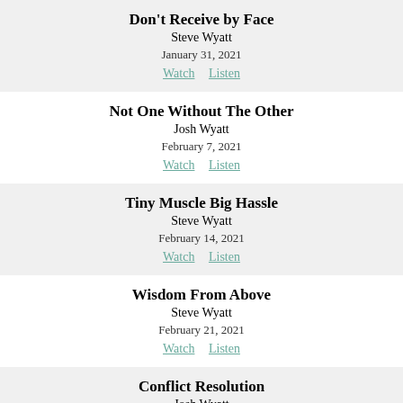Don't Receive by Face
Steve Wyatt
January 31, 2021
Watch   Listen
Not One Without The Other
Josh Wyatt
February 7, 2021
Watch   Listen
Tiny Muscle Big Hassle
Steve Wyatt
February 14, 2021
Watch   Listen
Wisdom From Above
Steve Wyatt
February 21, 2021
Watch   Listen
Conflict Resolution
Josh Wyatt